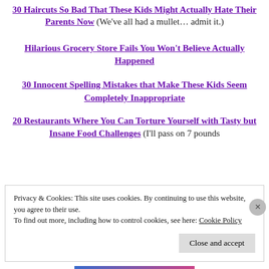30 Haircuts So Bad That These Kids Might Actually Hate Their Parents Now (We've all had a mullet… admit it.)
Hilarious Grocery Store Fails You Won't Believe Actually Happened
30 Innocent Spelling Mistakes that Make These Kids Seem Completely Inappropriate
20 Restaurants Where You Can Torture Yourself with Tasty but Insane Food Challenges (I'll pass on 7 pounds
Privacy & Cookies: This site uses cookies. By continuing to use this website, you agree to their use.
To find out more, including how to control cookies, see here: Cookie Policy